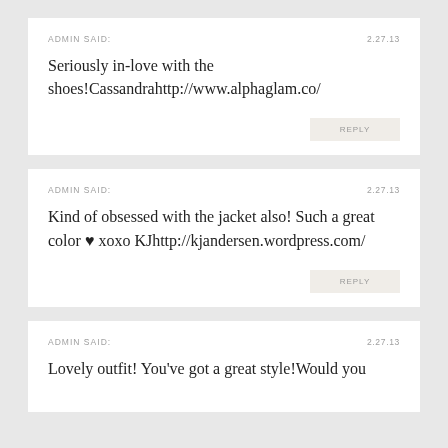ADMIN SAID:  2.27.13
Seriously in-love with the shoes!Cassandrahttp://www.alphaglam.co/
REPLY
ADMIN SAID:  2.27.13
Kind of obsessed with the jacket also! Such a great color ♥ xoxo KJhttp://kjandersen.wordpress.com/
REPLY
ADMIN SAID:  2.27.13
Lovely outfit! You've got a great style!Would you